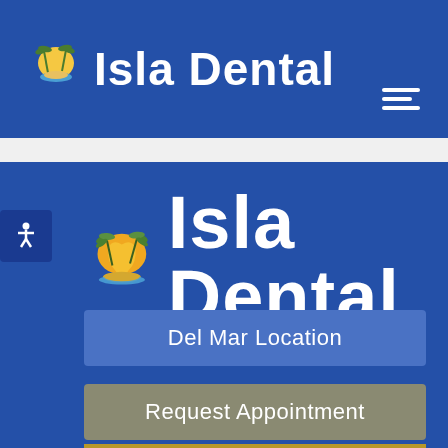[Figure (logo): Isla Dental logo in header bar: tooth/palm tree island icon followed by 'Isla Dental' text in white]
[Figure (other): Hamburger menu icon (three horizontal white lines) in top-right area]
[Figure (logo): Large Isla Dental logo on blue background: colorful tooth/palm tree island icon followed by 'Isla Dental' in large white text]
Del Mar Location
Request Appointment